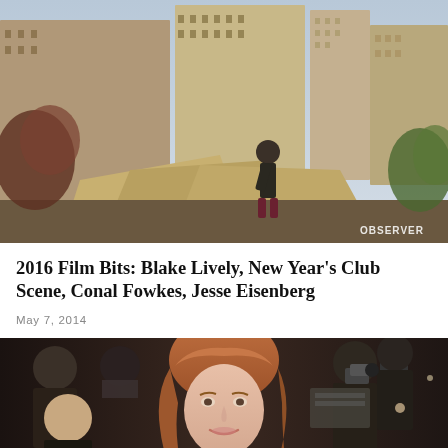[Figure (photo): A young man standing on a rooftop surrounded by large stone or concrete architectural debris, with tall New York City buildings in the background. An OBSERVER watermark is visible in the lower right.]
2016 Film Bits: Blake Lively, New Year's Club Scene, Conal Fowkes, Jesse Eisenberg
May 7, 2014
[Figure (photo): A young woman with reddish-brown hair at what appears to be a red carpet event, surrounded by photographers with cameras in the background.]